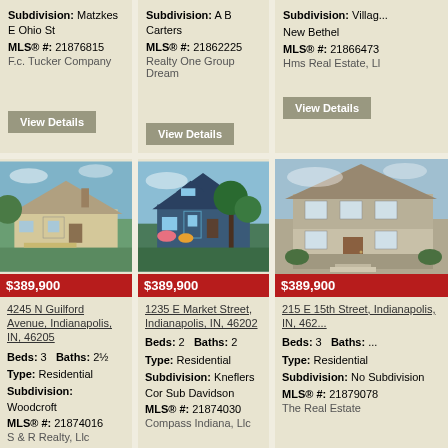Subdivision: Matzkes E
Ohio St
MLS® #: 21876815
F.c. Tucker Company
[View Details]
Subdivision: A B Carters
MLS® #: 21862225
Realty One Group Dream
[View Details]
Subdivision: Villag...
New Bethel
MLS® #: 21866473
Hms Real Estate, LL...
[View Details]
[Figure (photo): House at 4245 N Guilford Avenue, Indianapolis - bungalow style home with green lawn]
$389,900
4245 N Guilford Avenue, Indianapolis, IN, 46205
Beds: 3  Baths: 2½
Type: Residential
Subdivision: Woodcroft
MLS® #: 21874016
S & R Realty, Llc
[Figure (photo): House at 1235 E Market Street, Indianapolis - blue craftsman style home with landscaping]
$389,900
1235 E Market Street, Indianapolis, IN, 46202
Beds: 2  Baths: 2
Type: Residential
Subdivision: Kneflers Cor Sub Davidson
MLS® #: 21874030
Compass Indiana, Llc
[Figure (photo): House at 215 E 15th Street, Indianapolis - two-story home with stone facade]
$389,900
215 E 15th Street, Indianapolis, IN, 462...
Beds: 3  Baths: ...
Type: Residential
Subdivision: No Subdivision
MLS® #: 21879078
The Real Estate